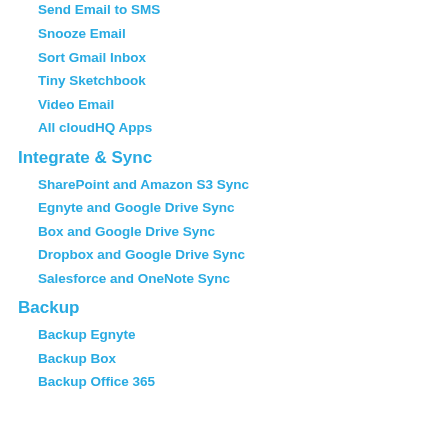Send Email to SMS
Snooze Email
Sort Gmail Inbox
Tiny Sketchbook
Video Email
All cloudHQ Apps
Integrate & Sync
SharePoint and Amazon S3 Sync
Egnyte and Google Drive Sync
Box and Google Drive Sync
Dropbox and Google Drive Sync
Salesforce and OneNote Sync
Backup
Backup Egnyte
Backup Box
Backup Office 365